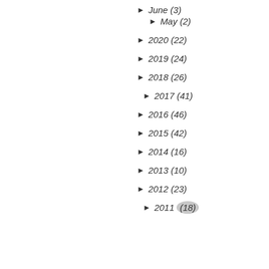► June (3)
► May (2)
► 2020 (22)
► 2019 (24)
► 2018 (26)
► 2017 (41)
► 2016 (46)
► 2015 (42)
► 2014 (16)
► 2013 (10)
► 2012 (23)
► 2011 (18)